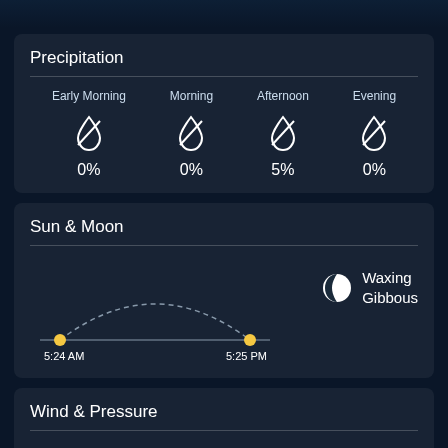Precipitation
| Early Morning | Morning | Afternoon | Evening |
| --- | --- | --- | --- |
| 0% | 0% | 5% | 0% |
Sun & Moon
[Figure (infographic): Sun arc diagram showing sunrise at 5:24 AM and sunset at 5:25 PM with a dashed arc, and Waxing Gibbous moon phase icon]
5:24 AM
5:25 PM
Waxing Gibbous
Wind & Pressure